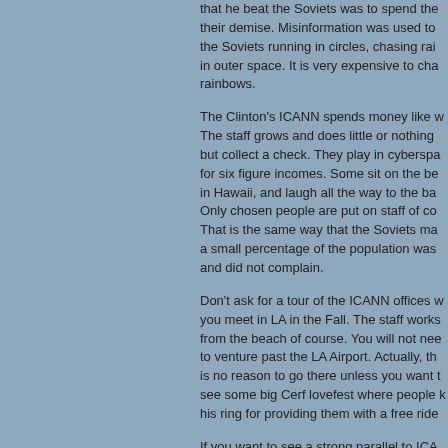that he beat the Soviets was to spend their demise. Misinformation was used to the Soviets running in circles, chasing rainbows in outer space. It is very expensive to chase rainbows.
The Clinton's ICANN spends money like water. The staff grows and does little or nothing but collect a check. They play in cyberspace for six figure incomes. Some sit on the beach in Hawaii, and laugh all the way to the bank. Only chosen people are put on staff of course. That is the same way that the Soviets managed, a small percentage of the population was happy and did not complain.
Don't ask for a tour of the ICANN offices when you meet in LA in the Fall. The staff works from the beach of course. You will not need to venture past the LA Airport. Actually, there is no reason to go there unless you want to see some big Cerf lovefest where people kiss his ring for providing them with a free ride.
If you want to see a strong parallel to ICANN, venture down to Cuba. It is run the same way. Castro, like Cerf, doles out money to the chosen ones and a small part of the population lives very well. As with ICANN, you are not allowed